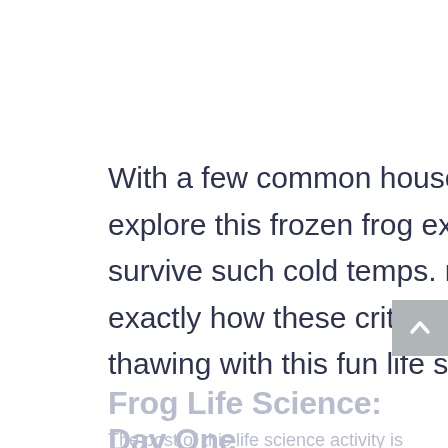With a few common household items, we were able to explore this frozen frog experiment and exactly how they can survive such cold temps. my 5-year-old, A, was able to see exactly how these critters are able to withstand freezing and thawing with this fun life science experiment.
Frog Life Science: Day One